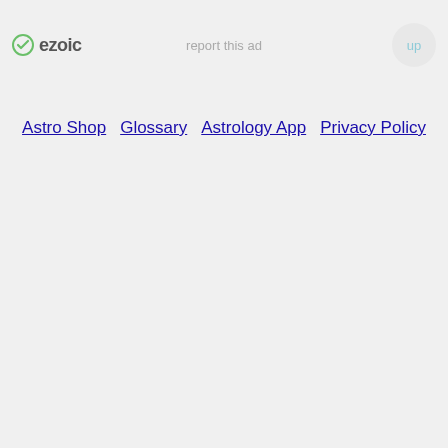ezoic   report this ad   up
Astro Shop  Glossary  Astrology App  Privacy Policy